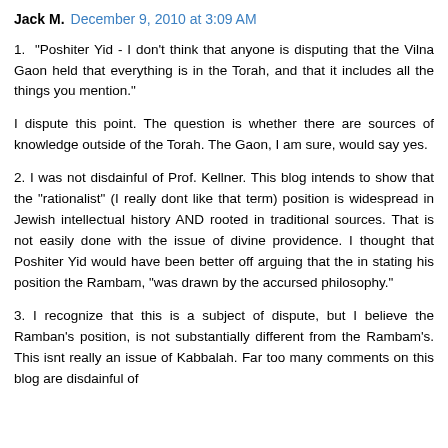Jack M.  December 9, 2010 at 3:09 AM
1.  "Poshiter Yid - I don't think that anyone is disputing that the Vilna Gaon held that everything is in the Torah, and that it includes all the things you mention."
I dispute this point. The question is whether there are sources of knowledge outside of the Torah. The Gaon, I am sure, would say yes.
2. I was not disdainful of Prof. Kellner. This blog intends to show that the "rationalist" (I really dont like that term) position is widespread in Jewish intellectual history AND rooted in traditional sources. That is not easily done with the issue of divine providence. I thought that Poshiter Yid would have been better off arguing that the in stating his position the Rambam, "was drawn by the accursed philosophy."
3. I recognize that this is a subject of dispute, but I believe the Ramban's position, is not substantially different from the Rambam's. This isnt really an issue of Kabbalah. Far too many comments on this blog are disdainful of